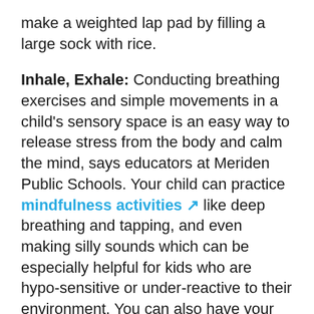make a weighted lap pad by filling a large sock with rice.
Inhale, Exhale: Conducting breathing exercises and simple movements in a child's sensory space is an easy way to release stress from the body and calm the mind, says educators at Meriden Public Schools. Your child can practice mindfulness activities like deep breathing and tapping, and even making silly sounds which can be especially helpful for kids who are hypo-sensitive or under-reactive to their environment. You can also have your kid breathe in and out guided by an expanding and contracting